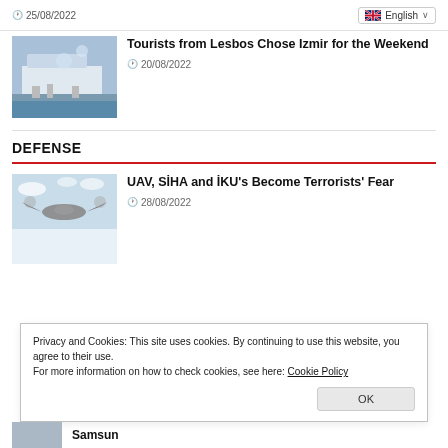25/08/2022
English
[Figure (photo): Ferry/port scene with a large white ship and people on a dock, likely Izmir/Lesbos ferry terminal]
Tourists from Lesbos Chose Izmir for the Weekend
20/08/2022
DEFENSE
[Figure (photo): Military UAV/drone flying against a cloudy blue sky]
UAV, SİHA and İKU's Become Terrorists' Fear
28/08/2022
Privacy and Cookies: This site uses cookies. By continuing to use this website, you agree to their use.
For more information on how to check cookies, see here: Cookie Policy
OK
Samsun